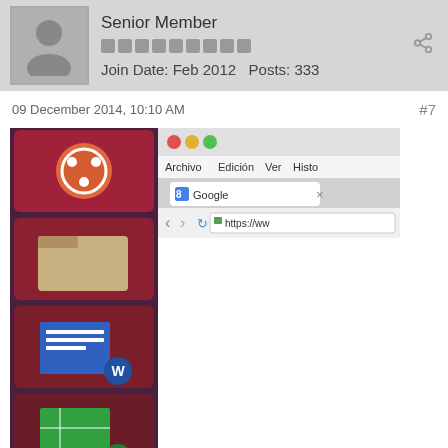Senior Member
Join Date: Feb 2012  Posts: 333
09 December 2014, 10:10 AM
#7
[Figure (screenshot): Ubuntu desktop screenshot showing the Unity launcher bar on the left with various application icons (Ubuntu logo, Files, LibreOffice Writer, LibreOffice Calc, LibreOffice Impress, Ubuntu Software Center, System Tools, Media Player, Chrome), and a partial Firefox/Chromium browser window open to Google with URL https://ww... visible at top.]